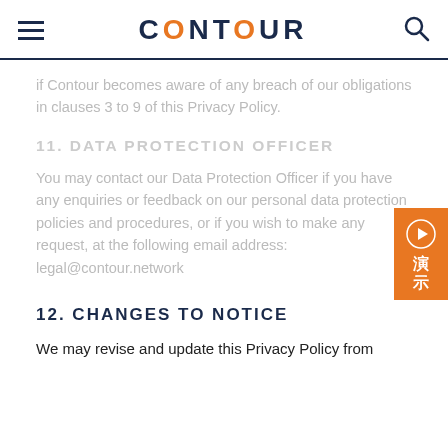CONTOUR
if Contour becomes aware of any breach of our obligations in clauses 3 to 9 of this Privacy Policy.
11. DATA PROTECTION OFFICER
You may contact our Data Protection Officer if you have any enquiries or feedback on our personal data protection policies and procedures, or if you wish to make any request, at the following email address: legal@contour.network
12. CHANGES TO NOTICE
We may revise and update this Privacy Policy from